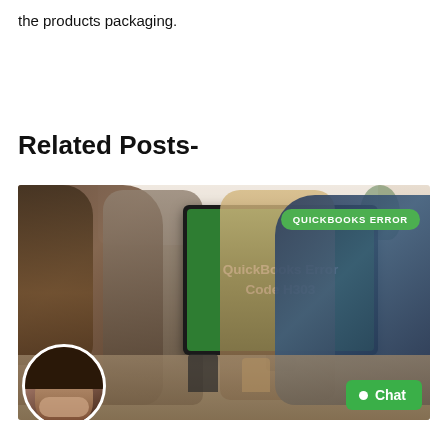the products packaging.
Related Posts-
[Figure (photo): Office scene with people sitting around a table, a computer monitor showing 'QuickBooks Error Code H303' on a green screen, a 'QUICKBOOKS ERROR' pill label in green, and a Chat button at bottom right. An avatar of a woman appears at bottom left.]